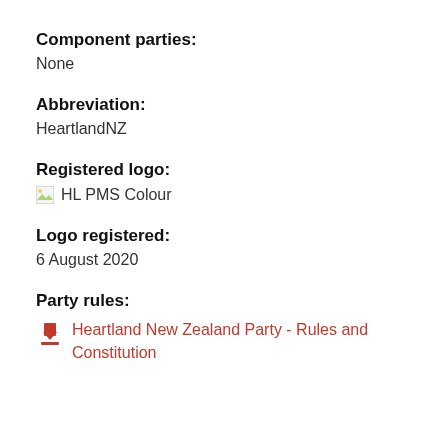Component parties:
None
Abbreviation:
HeartlandNZ
Registered logo:
[Figure (logo): Broken image placeholder labeled 'HL PMS Colour']
Logo registered:
6 August 2020
Party rules:
Heartland New Zealand Party - Rules and Constitution